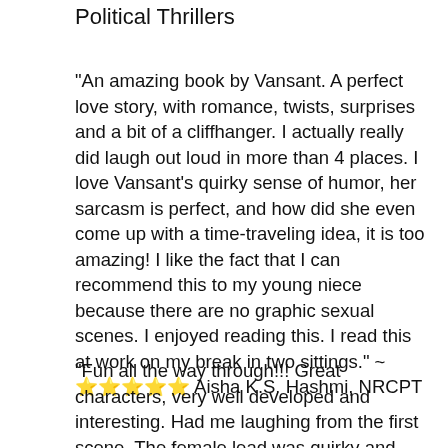Political Thrillers
"An amazing book by Vansant. A perfect love story, with romance, twists, surprises and a bit of a cliffhanger. I actually really did laugh out loud in more than 4 places. I love Vansant’s quirky sense of humor, her sarcasm is perfect, and how did she even come up with a time-traveling idea, it is too amazing! I like the fact that I can recommend this to my young niece because there are no graphic sexual scenes. I enjoyed reading this. I read this at work on my break in two sittings." ~ ⭐⭐⭐⭐⭐ Aisha K.S. Hashmi, NRCPT
"Fun all the way through!!! Great characters, very well developed and interesting. Had me laughing from the first scene. The female lead was quirky and relatable. I found her perspective